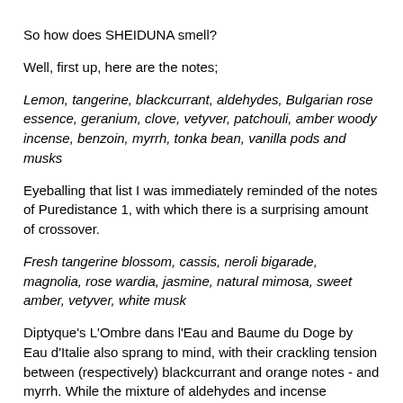So how does SHEIDUNA smell?
Well, first up, here are the notes;
Lemon, tangerine, blackcurrant, aldehydes, Bulgarian rose essence, geranium, clove, vetyver, patchouli, amber woody incense, benzoin, myrrh, tonka bean, vanilla pods and musks
Eyeballing that list I was immediately reminded of the notes of Puredistance 1, with which there is a surprising amount of crossover.
Fresh tangerine blossom, cassis, neroli bigarade, magnolia, rose wardia, jasmine, natural mimosa, sweet amber, vetyver, white musk
Diptyque's L'Ombre dans l'Eau and Baume du Doge by Eau d'Italie also sprang to mind, with their crackling tension between (respectively) blackcurrant and orange notes - and myrrh. While the mixture of aldehydes and incense inevitably